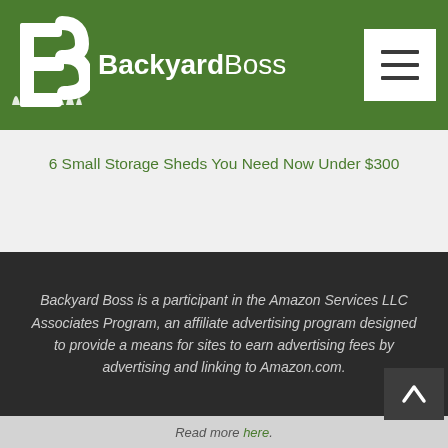BackyardBoss
6 Small Storage Sheds You Need Now Under $300
Backyard Boss is a participant in the Amazon Services LLC Associates Program, an affiliate advertising program designed to provide a means for sites to earn advertising fees by advertising and linking to Amazon.com.
To support our work we earn a commission if you purchase through some of the links listed above at no additional cost to you.
Read more here.